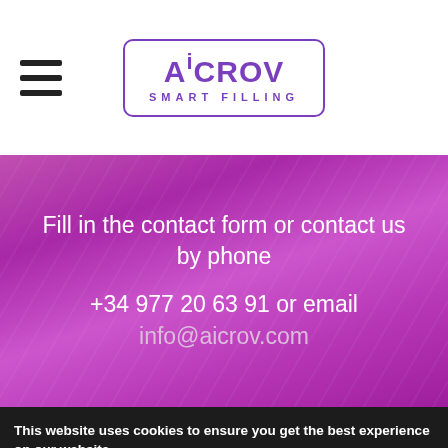[Figure (logo): AiCrov Smart Filling logo in purple with rectangular border]
[Figure (photo): Purple/magenta satin-like textured background banner with contact information text]
Fill in the contact form or contact us by phone
+34 977 20 63 91 or email
info@aicrov.com
This website uses cookies to ensure you get the best experience on our website.
Decline
Accept Cookies
Accept
Cookie settings:
Necessary